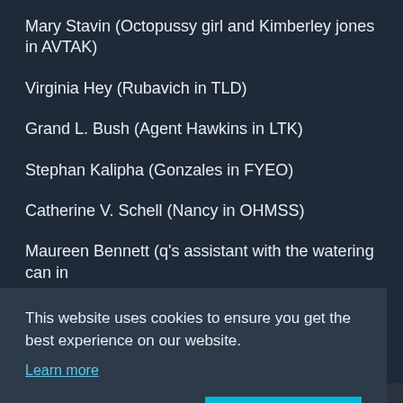Mary Stavin (Octopussy girl and Kimberley jones in AVTAK)
Virginia Hey (Rubavich in TLD)
Grand L. Bush (Agent Hawkins in LTK)
Stephan Kalipha (Gonzales in FYEO)
Catherine V. Schell (Nancy in OHMSS)
Maureen Bennett (q's assistant with the watering can in
This website uses cookies to ensure you get the best experience on our website.
Learn more
Decline   Allow cookies